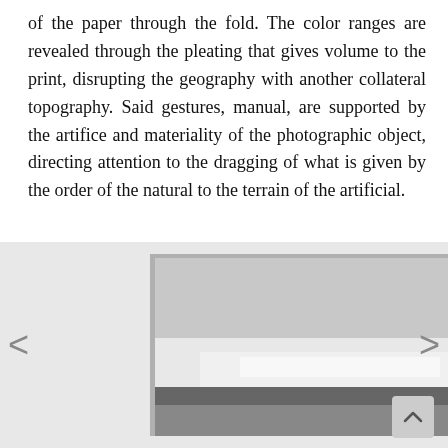of the paper through the fold. The color ranges are revealed through the pleating that gives volume to the print, disrupting the geography with another collateral topography. Said gestures, manual, are supported by the artifice and materiality of the photographic object, directing attention to the dragging of what is given by the order of the natural to the terrain of the artificial.
[Figure (photo): A photographic book or folded print showing a landscape image (grayscale with a blue section on the right) displayed as a pleated/folded object, with navigation arrows on left and right sides and a scroll-up button on the lower right.]